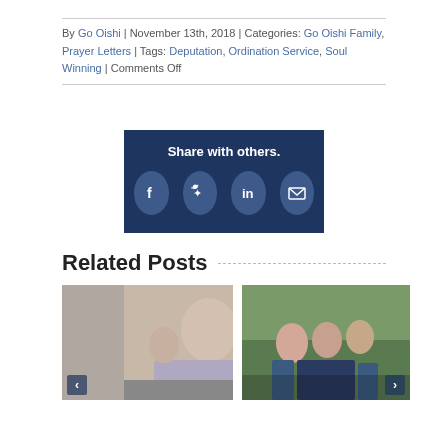By Go Oishi | November 13th, 2018 | Categories: Go Oishi Family, Prayer Letters | Tags: Deputation, Ordination Service, Soul Winning | Comments Off
[Figure (infographic): Share with others social icons bar with Facebook, Twitter, LinkedIn, and Email icons on dark navy background]
Related Posts
[Figure (photo): Family photo - couple with children smiling]
[Figure (photo): Group photo of teenagers and young adults outdoors with greenery background]